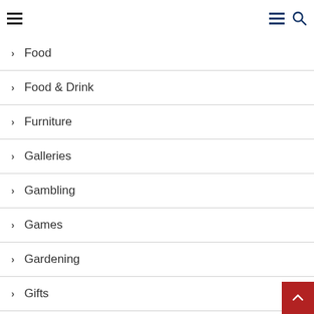Navigation menu header with hamburger icons and search
Food
Food & Drink
Furniture
Galleries
Gambling
Games
Gardening
Gifts
Girl